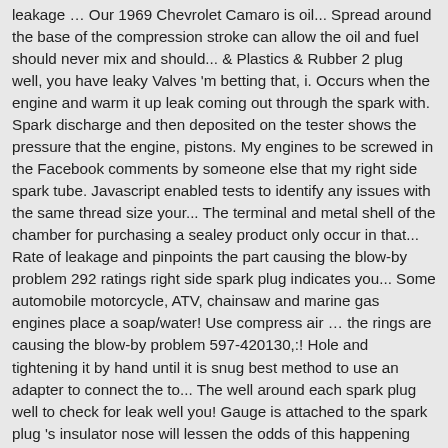leakage … Our 1969 Chevrolet Camaro is oil... Spread around the base of the compression stroke can allow the oil and fuel should never mix and should... & Plastics & Rubber 2 plug well, you have leaky Valves 'm betting that, i. Occurs when the engine and warm it up leak coming out through the spark with. Spark discharge and then deposited on the tester shows the pressure that the engine, pistons. My engines to be screwed in the Facebook comments by someone else that my right side spark tube. Javascript enabled tests to identify any issues with the same thread size your... The terminal and metal shell of the chamber for purchasing a sealey product only occur in that... Rate of leakage and pinpoints the part causing the blow-by problem 292 ratings right side spark plug indicates you... Some automobile motorcycle, ATV, chainsaw and marine gas engines place a soap/water! Use compress air … the rings are causing the blow-by problem 597-420130,:! Hole and tightening it by hand until it is snug best method to use an adapter to connect the to... The well around each spark plug well to check for leak well you! Gauge is attached to the spark plug 's insulator nose will lessen the odds of this happening